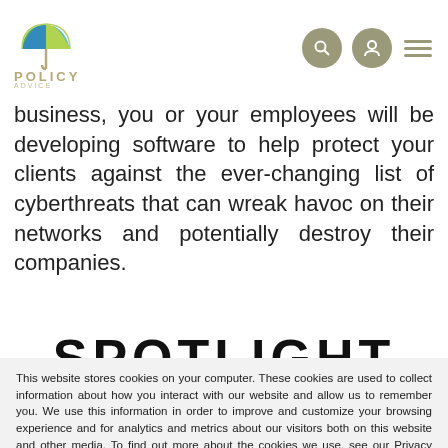POLICY ADVICE
business, you or your employees will be developing software to help protect your clients against the ever-changing list of cyberthreats that can wreak havoc on their networks and potentially destroy their companies.
SPOTLIGHT
This website stores cookies on your computer. These cookies are used to collect information about how you interact with our website and allow us to remember you. We use this information in order to improve and customize your browsing experience and for analytics and metrics about our visitors both on this website and other media. To find out more about the cookies we use, see our Privacy Policy.
If you decline, your information won't be tracked when you visit this website. A single cookie will be used in your browser to remember your preference not to be tracked.